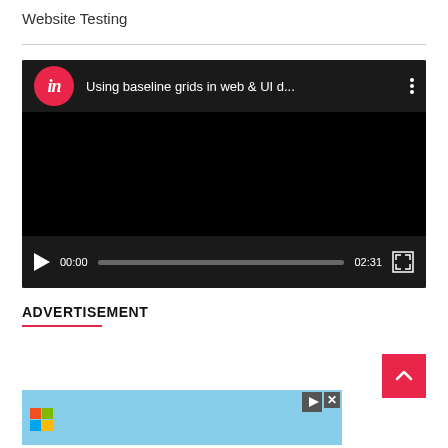Website Testing
[Figure (screenshot): Embedded video player with InVision logo showing title 'Using baseline grids in web & UI d...' with play controls showing 00:00 / 02:31]
ADVERTISEMENT
[Figure (screenshot): Advertisement banner image with play and close buttons]